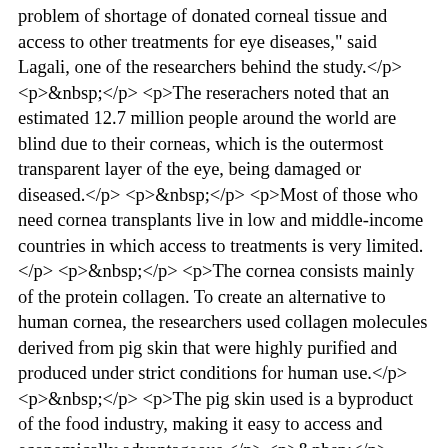problem of shortage of donated corneal tissue and access to other treatments for eye diseases," said Lagali, one of the researchers behind the study.</p> <p>&nbsp;</p> <p>The reserachers noted that an estimated 12.7 million people around the world are blind due to their corneas, which is the outermost transparent layer of the eye, being damaged or diseased.</p> <p>&nbsp;</p> <p>Most of those who need cornea transplants live in low and middle-income countries in which access to treatments is very limited.</p> <p>&nbsp;</p> <p>The cornea consists mainly of the protein collagen. To create an alternative to human cornea, the researchers used collagen molecules derived from pig skin that were highly purified and produced under strict conditions for human use.</p> <p>&nbsp;</p> <p>The pig skin used is a byproduct of the food industry, making it easy to access and economically advantageous.</p> <p>&nbsp;</p> <p>The researchers stabilised the loose collagen molecules forming a robust and transparent material that could withstand handling and implantation in the eye.</p> <p>&nbsp;</p> <p>While donated corneas must be used within two weeks, the bioengineered corneas can be stored for up to two years before use, the researchers said. </p> <p>&nbsp;</p> <p>They also developed a new, minimally invasive method for treating the disease keratoconus, in which the cornea becomes so thin that it can lead to blindness. Currenty, a keratoconus patient's cornea at advanced stage is surgically removed and replaced by a donated cornea, which is sewn into the recipient's eye.</p> <p>&nbsp;</p> <p>But With